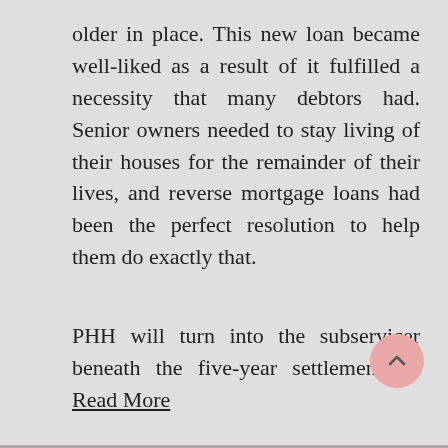older in place. This new loan became well-liked as a result of it fulfilled a necessity that many debtors had. Senior owners needed to stay living of their houses for the remainder of their lives, and reverse mortgage loans had been the perfect resolution to help them do exactly that.
PHH will turn into the subservicer beneath the five-year settlement … Read More